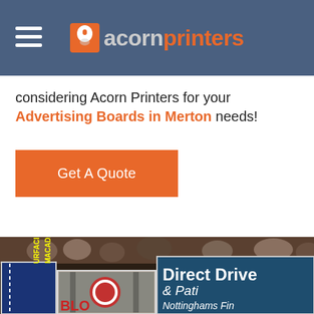acornprinters
considering Acorn Printers for your Advertising Boards in Merton needs!
Get A Quote
[Figure (photo): Photo of advertising boards including a blue board with yellow text reading 'SURFACING MACADAM', a middle board partially showing 'BLO', and a teal board reading 'Direct Drive & Pati... Nottinghams Fin...']